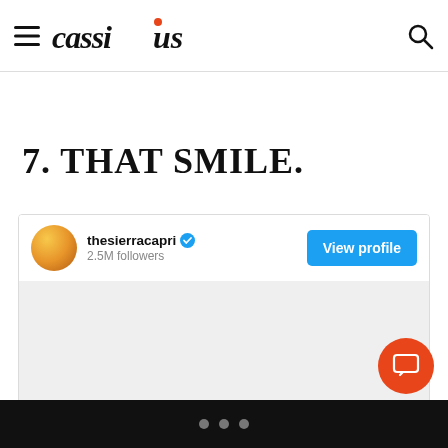cassius (logo) — navigation header with hamburger menu and search icon
7. THAT SMILE.
[Figure (screenshot): Instagram embed card for user thesierracapri with 2.5M followers, verified badge, View profile button, and a gray image area below]
Three dot pagination indicators